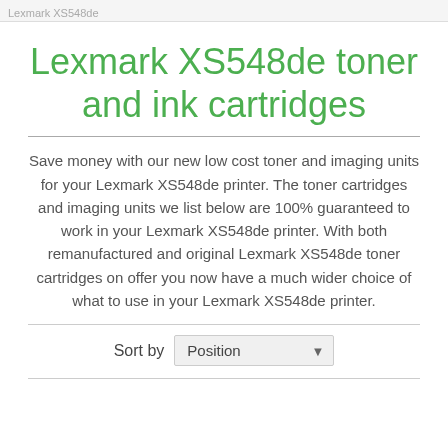Lexmark XS548de
Lexmark XS548de toner and ink cartridges
Save money with our new low cost toner and imaging units for your Lexmark XS548de printer. The toner cartridges and imaging units we list below are 100% guaranteed to work in your Lexmark XS548de printer. With both remanufactured and original Lexmark XS548de toner cartridges on offer you now have a much wider choice of what to use in your Lexmark XS548de printer.
Sort by  Position